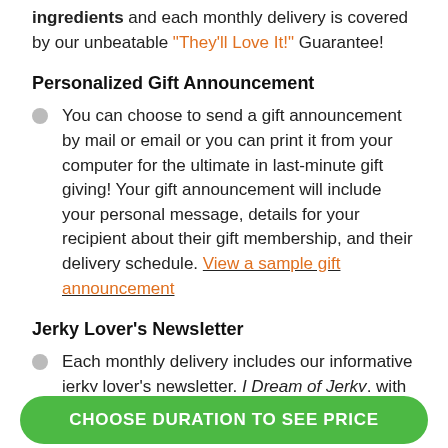varieties made with only the finest, all-natural ingredients and each monthly delivery is covered by our unbeatable "They'll Love It!" Guarantee!
Personalized Gift Announcement
You can choose to send a gift announcement by mail or email or you can print it from your computer for the ultimate in last-minute gift giving! Your gift announcement will include your personal message, details for your recipient about their gift membership, and their delivery schedule. View a sample gift announcement
Jerky Lover's Newsletter
Each monthly delivery includes our informative jerky lover's newsletter, I Dream of Jerky, with information
CHOOSE DURATION TO SEE PRICE